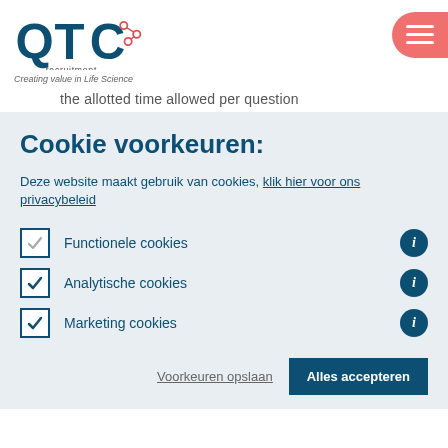[Figure (logo): QTC recruitment logo with network icon in red/coral on dark blue text, tagline 'recruitment' below]
Creating value in Life Science
the allotted time allowed per question
Cookie voorkeuren:
Deze website maakt gebruik van cookies, klik hier voor ons privacybeleid
Functionele cookies
Analytische cookies
Marketing cookies
Voorkeuren opslaan   Alles accepteren